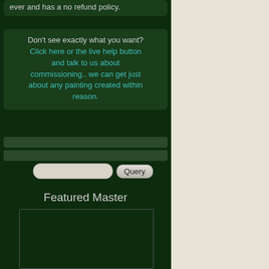ever and has a no refund policy.
Don't see exactly what you want? Click here or the live help button and talk to us about commissioning.. we can get just about any painting created within reason.
Query
Featured Master
[Figure (photo): Featured Master artwork image placeholder (broken image)]
acrylic, canvas
Price: $3,750.00 USD
$ 3,750 USD
Product ID: 23419
BUY NOW
or
Inquire ?